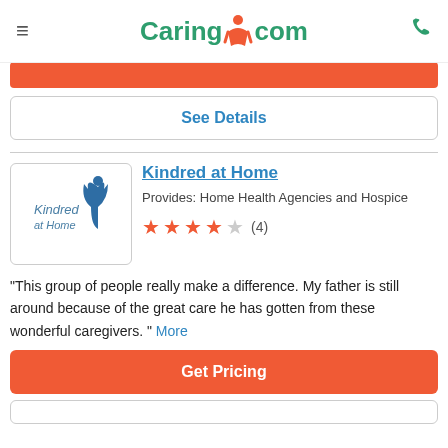Caring.com
[Figure (logo): Caring.com logo with green text and orange figure icon]
See Details
Kindred at Home
[Figure (logo): Kindred at Home logo with blue figure and italic text]
Provides: Home Health Agencies and Hospice
★★★★☆ (4)
"This group of people really make a difference. My father is still around because of the great care he has gotten from these wonderful caregivers. " More
Get Pricing